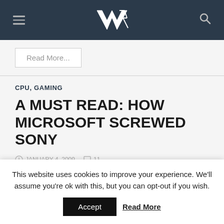VR — site header with hamburger menu, logo, and search icon
Read More...
CPU, GAMING
A MUST READ: HOW MICROSOFT SCREWED SONY
JANUARY 4, 2009   11
This website uses cookies to improve your experience. We'll assume you're ok with this, but you can opt-out if you wish.
Accept   Read More